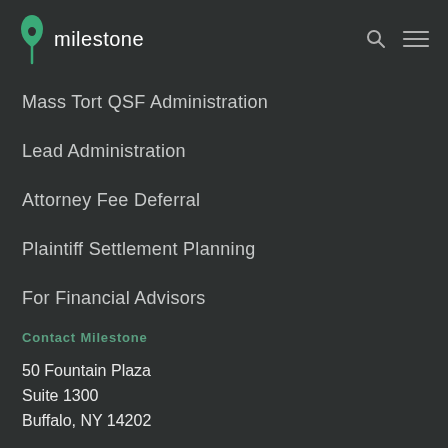milestone
Mass Tort QSF Administration
Lead Administration
Attorney Fee Deferral
Plaintiff Settlement Planning
For Financial Advisors
Contact Milestone
50 Fountain Plaza
Suite 1300
Buffalo, NY 14202
Phone: 716.887.1877